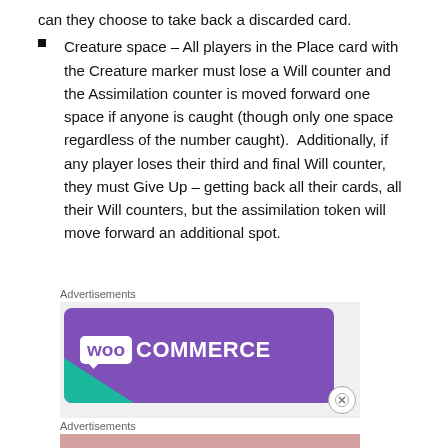can they choose to take back a discarded card.
Creature space – All players in the Place card with the Creature marker must lose a Will counter and the Assimilation counter is moved forward one space if anyone is caught (though only one space regardless of the number caught).  Additionally, if any player loses their third and final Will counter, they must Give Up – getting back all their cards, all their Will counters, but the assimilation token will move forward an additional spot.
Advertisements
[Figure (logo): WooCommerce advertisement banner with purple background and white logo text]
Advertisements